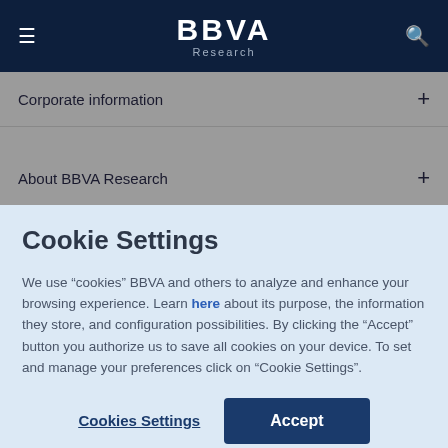BBVA Research
Corporate information
About BBVA Research
Cookie Settings
We use “cookies” BBVA and others to analyze and enhance your browsing experience. Learn here about its purpose, the information they store, and configuration possibilities. By clicking the “Accept” button you authorize us to save all cookies on your device. To set and manage your preferences click on “Cookie Settings”.
Cookies Settings
Accept